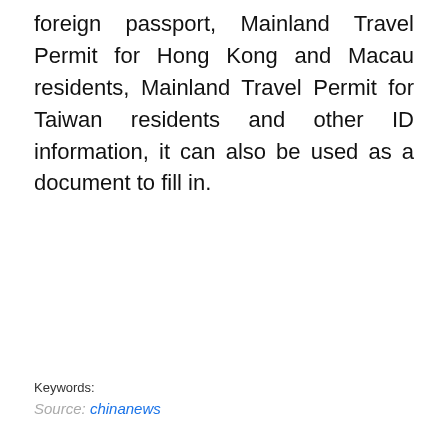foreign passport, Mainland Travel Permit for Hong Kong and Macau residents, Mainland Travel Permit for Taiwan residents and other ID information, it can also be used as a document to fill in.
Keywords:
Source: chinanews
All business articles on 2022-03-29
[Figure (other): Social share buttons: Facebook (blue), Twitter (light blue), Email (gray), Reddit (blue-gray), Hacker News Y (orange)]
Close X
[Figure (other): BitLife advertisement banner with red background and game characters, text REAL CHOICES]